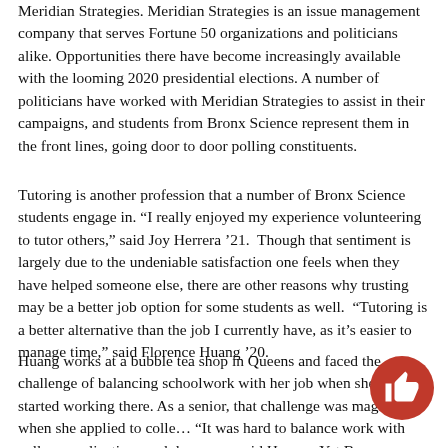Meridian Strategies. Meridian Strategies is an issue management company that serves Fortune 50 organizations and politicians alike. Opportunities there have become increasingly available with the looming 2020 presidential elections. A number of politicians have worked with Meridian Strategies to assist in their campaigns, and students from Bronx Science represent them in the front lines, going door to door polling constituents.
Tutoring is another profession that a number of Bronx Science students engage in. “I really enjoyed my experience volunteering to tutor others,” said Joy Herrera ’21.  Though that sentiment is largely due to the undeniable satisfaction one feels when they have helped someone else, there are other reasons why trusting may be a better job option for some students as well.  “Tutoring is a better alternative than the job I currently have, as it’s easier to manage time,” said Florence Huang ’20.
Huang works at a bubble tea shop in Queens and faced the challenge of balancing schoolwork with her job when she first started working there. As a senior, that challenge was magnified when she applied to colle… “It was hard to balance work with college applications and dance a… said Huang.  Yet Bronx Science students are known for their ability to